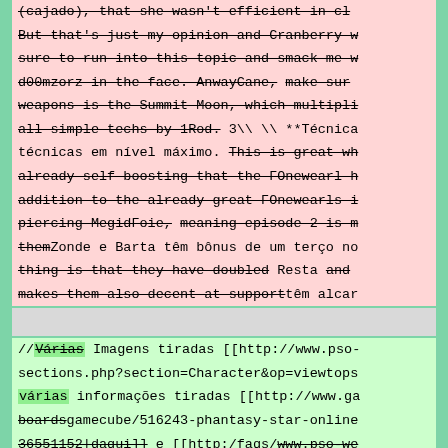(cajado), that she wasn't efficient in cl... But that's just my opinion and Cranberry w... sure to run into this topic and smack me w... d00mzorz in the face. AnwayCane, make sur... weapons is the Summit Moon, which multipli... all simple techs by 1Rod. 3\\ \\ **Técnica... técnicas em nível máximo. This is great wh... already self boosting that the FOnewearl h... addition to the already great FOnewearls i... piercing MegidFoie, meaning episode 2 is m... themZonde e Barta têm bônus de um terço no... thing is that they have doubled Resta and... makes them also decent at supporttêm alcar...
//Várias Imagens tiradas [[http://www.pso-sections.php?section=Character&op=viewtops... várias informações tiradas [[http://www.ga... boardsgamecube/516243-phantasy-star-online... 36551152|daqui]] e [[http:/faqs/www.pso-we... sections.php?section=Character& op=viewtopsection24695|daqui]] //